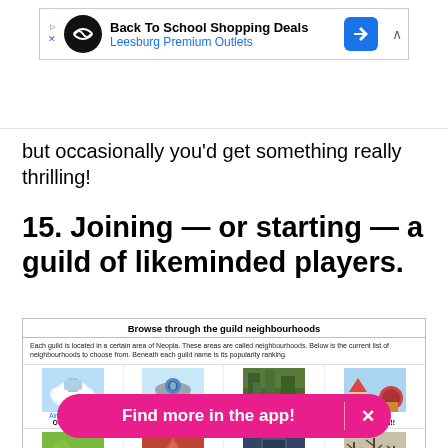[Figure (screenshot): Advertisement banner for Back To School Shopping Deals at Leesburg Premium Outlets with infinity logo and navigation arrow icon]
but occasionally you'd get something really thrilling!
15. Joining — or starting — a guild of likeminded players.
[Figure (screenshot): Screenshot of Neopets guild browser showing 'Browse through the guild neighbourhoods' with a description and a grid of guild locations: Air Faerie Cloud (Overloaded!!), Battle Dome (Very Crowded), Coral Canyon (Crowded), Cute City (Overloaded!!), Endless Plains (Very Crowded), and Haunted Forest (Very Crowded)]
[Figure (screenshot): App promotion bar: Find more in the app! with X close button]